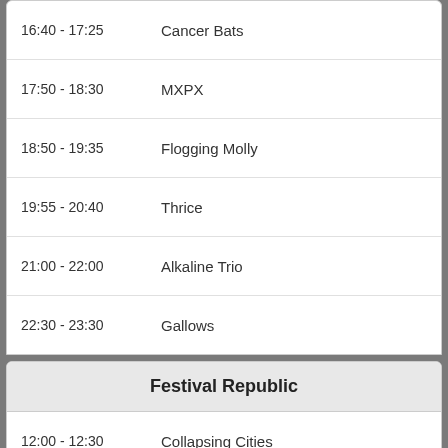16:40 - 17:25  Cancer Bats
17:50 - 18:30  MXPX
18:50 - 19:35  Flogging Molly
19:55 - 20:40  Thrice
21:00 - 22:00  Alkaline Trio
22:30 - 23:30  Gallows
Festival Republic
12:00 - 12:30  Collapsing Cities
12:45 - 13:15  Lovvers
13:30 - 14:00  Black Acid
14:15 - 15:00  Fight Like Apes
15:15 - 15:45  Twisted Wheel